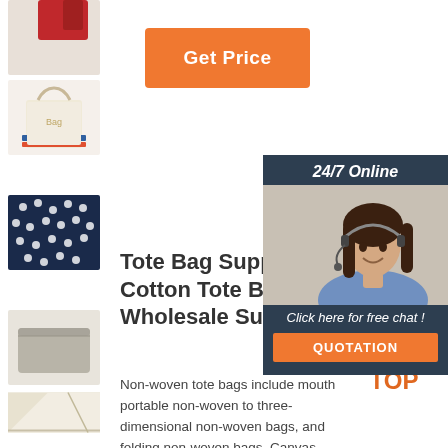[Figure (photo): Thumbnail of red bag (partial, top)]
[Figure (photo): Thumbnail of beige/cream canvas tote bag with handles]
[Figure (photo): Thumbnail of navy blue polka dot fabric bag]
[Figure (photo): Thumbnail of plain grey/beige flat pouch]
[Figure (photo): Thumbnail of natural canvas tote bag corner]
[Figure (photo): Thumbnail of another bag (partial, bottom)]
Get Price
[Figure (photo): 24/7 Online chat widget with woman wearing headset and quotation button]
Tote Bag Suppliers Cotton Tote Bags Wholesale Supplie
Non-woven tote bags include mouth portable non-woven to three-dimensional non-woven bags, and folding non-woven bags. Canvas handbags: Made of cotton, it is strong and soft, explaining the characteristics of durability. Canvas handbags are ordinary, zippered, iron-absorbing buckle, and flat-mouth portable.
[Figure (logo): TOP badge with orange dots]